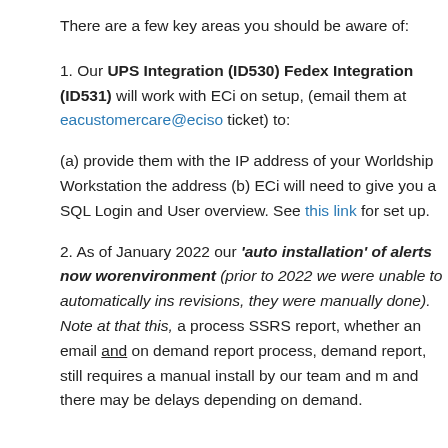There are a few key areas you should be aware of:
1. Our UPS Integration (ID530) Fedex Integration (ID531) will work with ECi on setup, (email them at eacustomercare@eciso ticket) to:
(a) provide them with the IP address of your Worldship Workstation the address (b) ECi will need to give you a SQL Login and User overview. See this link for set up.
2. As of January 2022 our 'auto installation' of alerts now works in environment (prior to 2022 we were unable to automatically install revisions, they were manually done). Note at that this, a process using SSRS report, whether an email and on demand report process, on demand report, still requires a manual install by our team and may and there may be delays depending on demand.